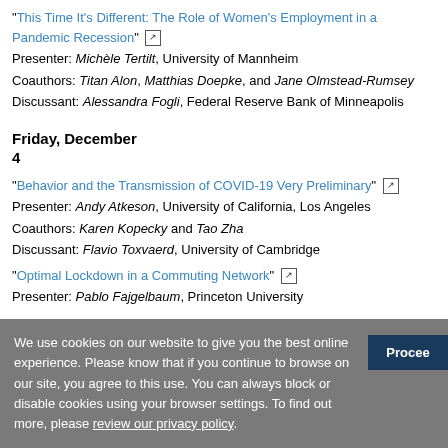"This Time It's Different: The Role of Women's Employment in a Pandemic Recession" [link icon]
Presenter: Michèle Tertilt, University of Mannheim
Coauthors: Titan Alon, Matthias Doepke, and Jane Olmstead-Rumsey
Discussant: Alessandra Fogli, Federal Reserve Bank of Minneapolis
Friday, December 4
"Behavior and the Transmission of COVID-19 Very Preliminary" [link icon]
Presenter: Andy Atkeson, University of California, Los Angeles
Coauthors: Karen Kopecky and Tao Zha
Discussant: Flavio Toxvaerd, University of Cambridge
"Optimal Lockdown in a Commuting Network" [link icon]
Presenter: Pablo Fajgelbaum, Princeton University
We use cookies on our website to give you the best online experience. Please know that if you continue to browse on our site, you agree to this use. You can always block or disable cookies using your browser settings. To find out more, please review our privacy policy.